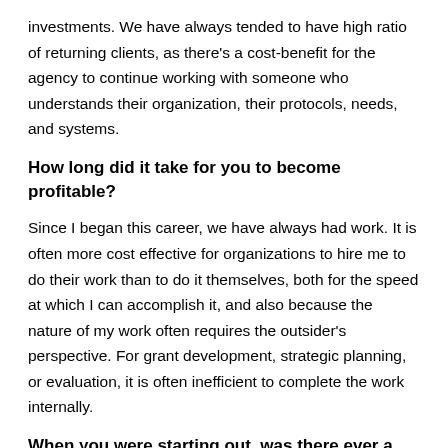investments. We have always tended to have high ratio of returning clients, as there's a cost-benefit for the agency to continue working with someone who understands their organization, their protocols, needs, and systems.
How long did it take for you to become profitable?
Since I began this career, we have always had work. It is often more cost effective for organizations to hire me to do their work than to do it themselves, both for the speed at which I can accomplish it, and also because the nature of my work often requires the outsider's perspective. For grant development, strategic planning, or evaluation, it is often inefficient to complete the work internally.
When you were starting out, was there ever a time you doubted it would work? If so, how did you handle that?